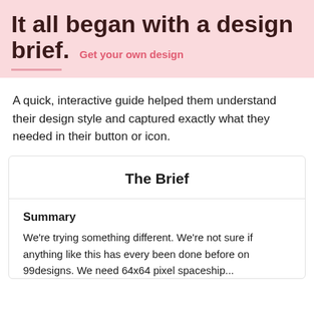It all began with a design brief. Get your own design
A quick, interactive guide helped them understand their design style and captured exactly what they needed in their button or icon.
The Brief
Summary
We're trying something different. We're not sure if anything like this has every been done before on 99designs. We need 64x64 pixel spaceship...